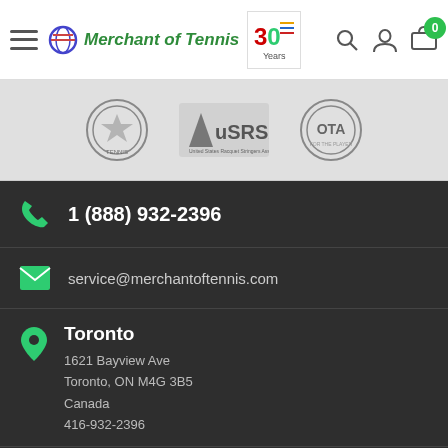Merchant of Tennis - 30 Years
[Figure (logo): Tennis Canada logo, USRSA logo, OTA logo badges in a grey strip]
1 (888) 932-2396
service@merchantoftennis.com
Toronto
1621 Bayview Ave
Toronto, ON M4G 3B5
Canada
416-932-2396
Oakville